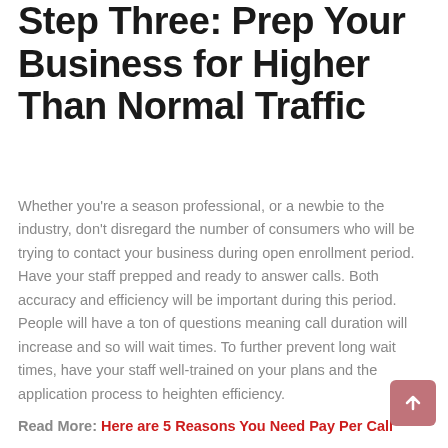Step Three: Prep Your Business for Higher Than Normal Traffic
Whether you're a season professional, or a newbie to the industry, don't disregard the number of consumers who will be trying to contact your business during open enrollment period. Have your staff prepped and ready to answer calls. Both accuracy and efficiency will be important during this period. People will have a ton of questions meaning call duration will increase and so will wait times. To further prevent long wait times, have your staff well-trained on your plans and the application process to heighten efficiency.
Read More: Here are 5 Reasons You Need Pay Per Call